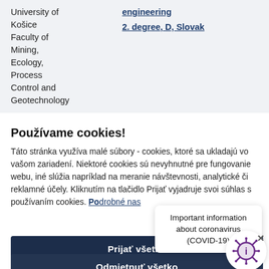| University of Košice Faculty of Mining, Ecology, Process Control and Geotechnology | engineering
2. degree, D, Slovak |
Používame cookies!
Táto stránka využíva malé súbory - cookies, ktoré sa ukladajú vo vašom zariadení. Niektoré cookies sú nevyhnutné pre fungovanie webu, iné slúžia napríklad na meranie návštevnosti, analytické či reklamné účely. Kliknutím na tlačidlo Prijať vyjadruje svoi súhlas s používaním cookies. Podrobné nas
Important information about coronavirus (COVID-19)
Prijať všetko
Odmietnuť všetko